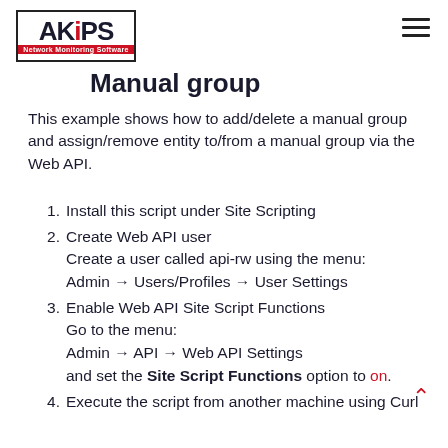[Figure (logo): AKiPS Network Monitoring Software logo — black border box, bold text with red dot on i, red banner subtitle]
Manual group
This example shows how to add/delete a manual group and assign/remove entity to/from a manual group via the Web API.
1. Install this script under Site Scripting
2. Create Web API user
Create a user called api-rw using the menu:
Admin → Users/Profiles → User Settings
3. Enable Web API Site Script Functions
Go to the menu:
Admin → API → Web API Settings
and set the Site Script Functions option to on.
4. Execute the script from another machine using Curl